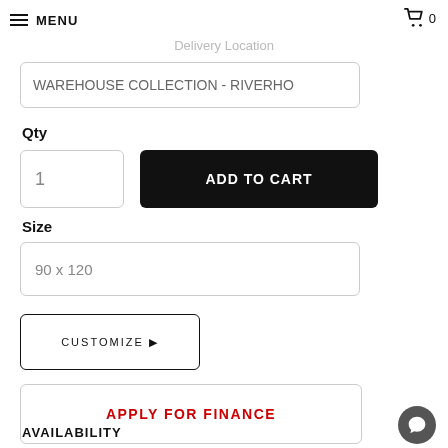MENU  🛒 0
Delivery Location
WAREHOUSE COLLECTION - RIVERHO
Qty
1
ADD TO CART
Size
90 x 120
CUSTOMIZE ▶
APPLY FOR FINANCE
AVAILABILITY